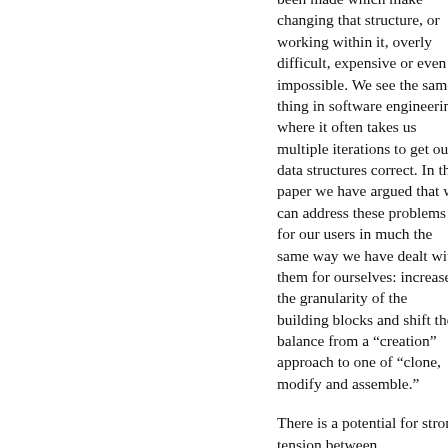been made which make changing that structure, or working within it, overly difficult, expensive or even impossible. We see the same thing in software engineering where it often takes us multiple iterations to get our data structures correct. In this paper we have argued that we can address these problems for our users in much the same way we have dealt with them for ourselves: increase the granularity of the building blocks and shift the balance from a “creation” approach to one of “clone, modify and assemble.”
There is a potential for strong tension between manipulating the surface